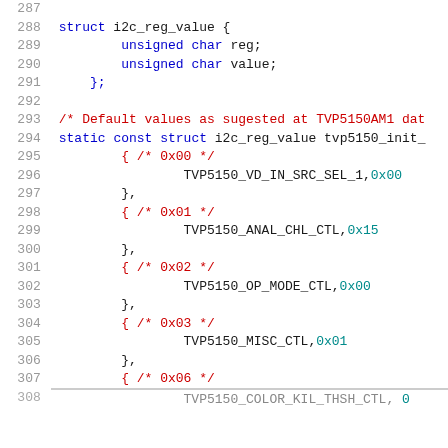Code listing lines 287-307, C source code showing i2c_reg_value struct definition and tvp5150_init array initialization with register values